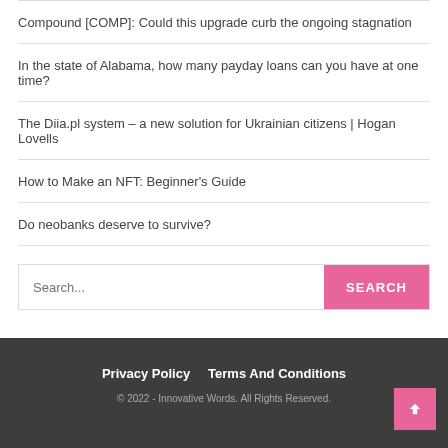Compound [COMP]: Could this upgrade curb the ongoing stagnation
In the state of Alabama, how many payday loans can you have at one time?
The Diia.pl system – a new solution for Ukrainian citizens | Hogan Lovells
How to Make an NFT: Beginner's Guide
Do neobanks deserve to survive?
Search...
Privacy Policy   Terms And Conditions
© 2022 - Innovative Words. All Rights Reserved.